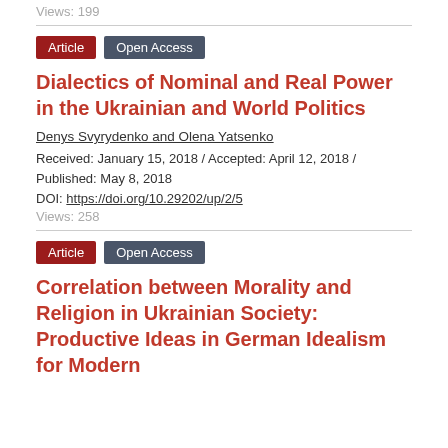Views: 199
Article  Open Access
Dialectics of Nominal and Real Power in the Ukrainian and World Politics
Denys Svyrydenko and Olena Yatsenko
Received: January 15, 2018 / Accepted: April 12, 2018 / Published: May 8, 2018
DOI: https://doi.org/10.29202/up/2/5
Views: 258
Article  Open Access
Correlation between Morality and Religion in Ukrainian Society: Productive Ideas in German Idealism for Modern